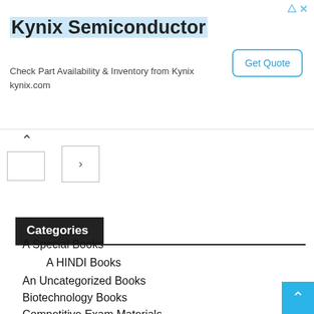[Figure (screenshot): Kynix Semiconductor advertisement banner with title, description text, and Get Quote button]
[Figure (screenshot): Navigation widget with up arrow and forward arrow buttons]
Categories
A Special Books
A HINDI Books
An Uncategorized Books
Biotechnology Books
Competitive Exam Materials
Exam Materials in English
Exam Materials in Hindi